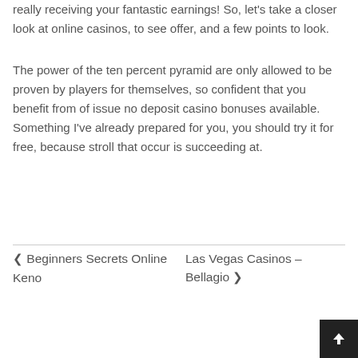really receiving your fantastic earnings! So, let's take a closer look at online casinos, to see offer, and a few points to look.
The power of the ten percent pyramid are only allowed to be proven by players for themselves, so confident that you benefit from of issue no deposit casino bonuses available. Something I've already prepared for you, you should try it for free, because stroll that occur is succeeding at.
◀ Beginners Secrets Online Keno
Las Vegas Casinos – Bellagio ▶